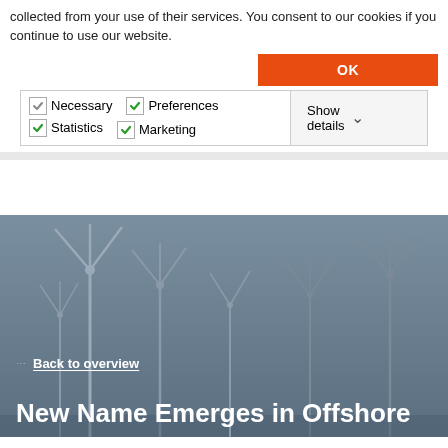collected from your use of their services. You consent to our cookies if you continue to use our website.
OK
| ☑ Necessary  ✓ Preferences  ✓ Statistics  ✓ Marketing | Show details ▾ |
[Figure (photo): Offshore wind turbines photographed against a gray-blue sky]
Back to overview
New Name Emerges in Offshore